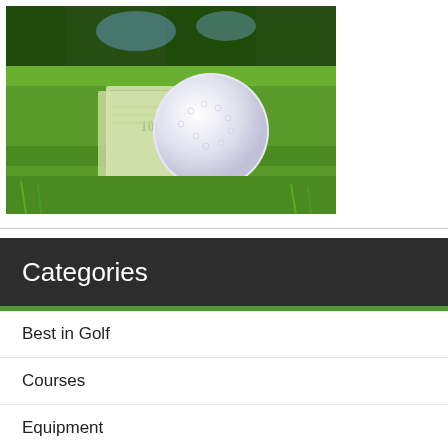[Figure (photo): A golf ball resting on green grass next to folded US dollar bills, with trees in the background]
Categories
Best in Golf
Courses
Equipment